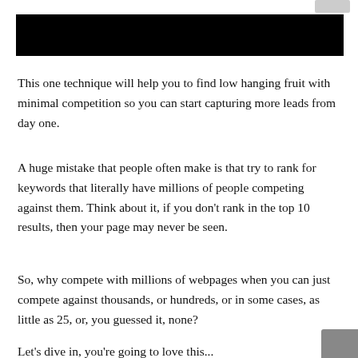[Figure (other): Black rectangular banner/header bar]
This one technique will help you to find low hanging fruit with minimal competition so you can start capturing more leads from day one.
A huge mistake that people often make is that try to rank for keywords that literally have millions of people competing against them. Think about it, if you don't rank in the top 10 results, then your page may never be seen.
So, why compete with millions of webpages when you can just compete against thousands, or hundreds, or in some cases, as little as 25, or, you guessed it, none?
Let's dive in, you're going to love this...